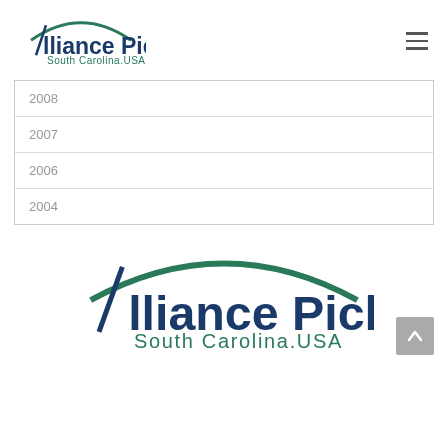[Figure (logo): Alliance Pickens South Carolina.USA logo - small version in page header, navy blue text with teal arc and text]
2008
2007
2006
2004
[Figure (logo): Alliance Pickens South Carolina.USA logo - large version at bottom of page, navy blue text with teal arc and subtitle]